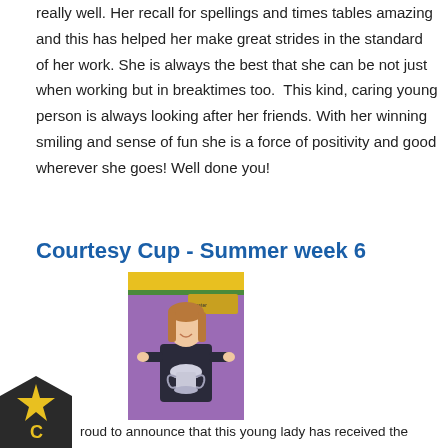really well. Her recall for spellings and times tables amazing and this has helped her make great strides in the standard of her work. She is always the best that she can be not just when working but in breaktimes too.  This kind, caring young person is always looking after her friends. With her winning smiling and sense of fun she is a force of positivity and good wherever she goes! Well done you!
Courtesy Cup - Summer week 6
[Figure (photo): A young girl standing and holding a large trophy cup, in front of a purple/yellow classroom display board.]
roud to announce that this young lady has received the